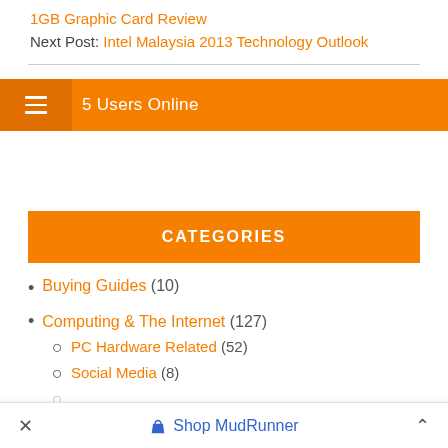1GB Graphic Card Review
Next Post: Intel Malaysia 2013 Technology Outlook
5 Users Online
CATEGORIES
Buying Guides (10)
Computing & The Internet (127)
PC Hardware Related (52)
Social Media (8)
Shop MudRunner